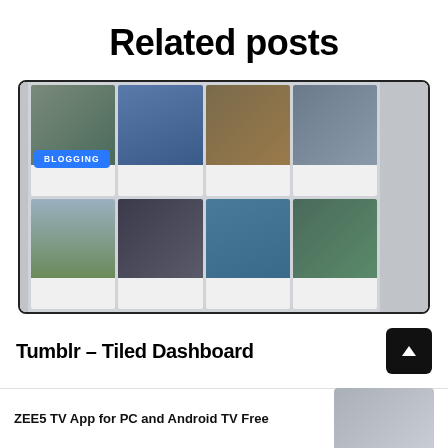Related posts
[Figure (screenshot): Screenshot of a tiled blog dashboard interface showing a grid of image posts with a blue 'BLOGGING' category badge visible in the upper left area of the grid]
Tumblr - Tiled Dashboard
ZEE5 TV App for PC and Android TV Free